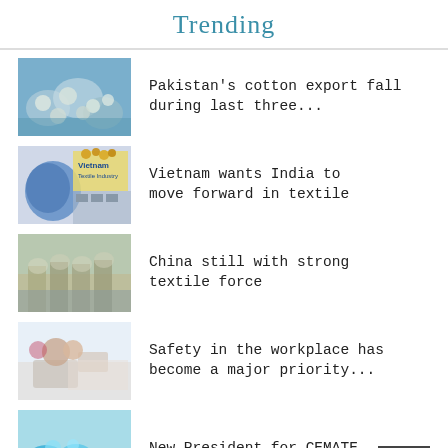Trending
Pakistan's cotton export fall during last three...
Vietnam wants India to move forward in textile
China still with strong textile force
Safety in the workplace has become a major priority...
New President for CEMATE